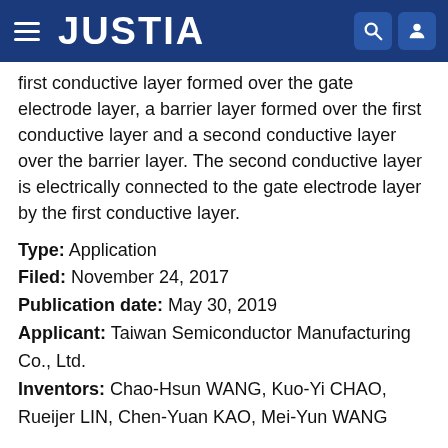JUSTIA
first conductive layer formed over the gate electrode layer, a barrier layer formed over the first conductive layer and a second conductive layer over the barrier layer. The second conductive layer is electrically connected to the gate electrode layer by the first conductive layer.
Type: Application
Filed: November 24, 2017
Publication date: May 30, 2019
Applicant: Taiwan Semiconductor Manufacturing Co., Ltd.
Inventors: Chao-Hsun WANG, Kuo-Yi CHAO, Rueijer LIN, Chen-Yuan KAO, Mei-Yun WANG
1  2  NEXT